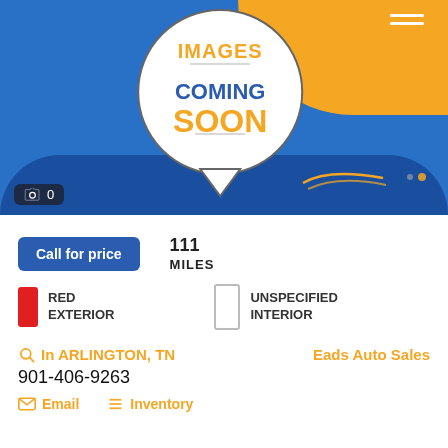[Figure (photo): Images Coming Soon placeholder graphic with blue and orange background, speech bubble containing 'IMAGES COMING SOON' text, camera icon badge showing 0 photos]
Call for price
111
MILES
RED
EXTERIOR
UNSPECIFIED
INTERIOR
In ARLINGTON, TN
Eads Auto Sales
901-406-9263
Email
Inventory